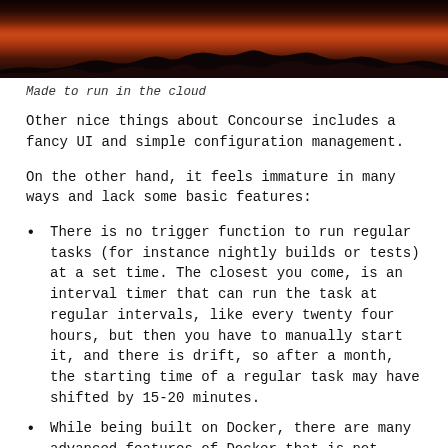[Figure (photo): Sunset sky with silhouetted trees, orange and red clouds]
Made to run in the cloud
Other nice things about Concourse includes a fancy UI and simple configuration management.
On the other hand, it feels immature in many ways and lack some basic features:
There is no trigger function to run regular tasks (for instance nightly builds or tests) at a set time. The closest you come, is an interval timer that can run the task at regular intervals, like every twenty four hours, but then you have to manually start it, and there is drift, so after a month, the starting time of a regular task may have shifted by 15-20 minutes.
While being built on Docker, there are many advanced features of Docker that is not supported. The most